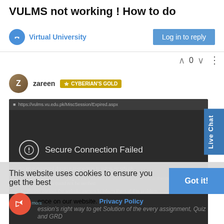VULMS not working ! How to do
Virtual University
Log in to reply
0
zareen  CYBERIAN'S GOLD
[Figure (screenshot): Browser screenshot showing 'Secure Connection Failed' error page for vulms.vu.edu.pk in a dark-themed browser. Error message: 'An error occurred during a connection to vulms.vu.edu.pk.' with bullet points: 'The page you are trying to view cannot be shown because the authenticity of the received data could not be verified.' and 'Please contact the website owners to inform them of this problem.' with a 'Learn more' link.]
This website uses cookies to ensure you get the best
Got it!
ence on our website.
Privacy Policy
ession's right way to get Solution of the every assignment, Quiz and GRD